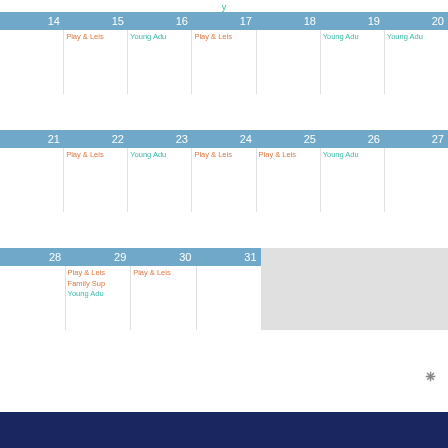[Figure (other): Monthly calendar view showing weeks of 14-20, 21-27, and 28-31, with events labeled Play & Leisure, Young Adults, and Family Support in orange and teal colors. Bottom footer is dark navy blue.]